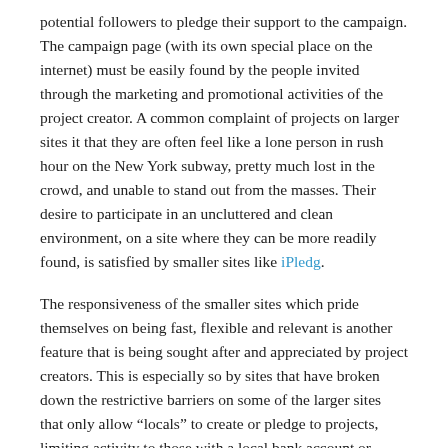potential followers to pledge their support to the campaign. The campaign page (with its own special place on the internet) must be easily found by the people invited through the marketing and promotional activities of the project creator. A common complaint of projects on larger sites it that they are often feel like a lone person in rush hour on the New York subway, pretty much lost in the crowd, and unable to stand out from the masses. Their desire to participate in an uncluttered and clean environment, on a site where they can be more readily found, is satisfied by smaller sites like iPledg.
The responsiveness of the smaller sites which pride themselves on being fast, flexible and relevant is another feature that is being sought after and appreciated by project creators. This is especially so by sites that have broken down the restrictive barriers on some of the larger sites that only allow “locals” to create or pledge to projects, limiting activity to those with a local bank account or social security number. Again, it is smaller sites like iPledg that have recognised that we are all part of a global community, and (as such) project creators should be able to easily reach potential supporters from all around the world. People from all around the world should be unrestricted from posting their projects on the site